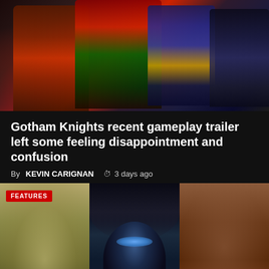[Figure (photo): Screenshot from Gotham Knights video game showing character costumes in red/green and blue/yellow color schemes against a dark background]
Gotham Knights recent gameplay trailer left some feeling disappointment and confusion
By KEVIN CARIGNAN  3 days ago
[Figure (photo): Three-panel collage image with a green/yellow textured figure on the left, a hooded figure with glowing blue eyes in the center, and a reddish-brown scene on the right. A red FEATURES badge overlays the top-left corner.]